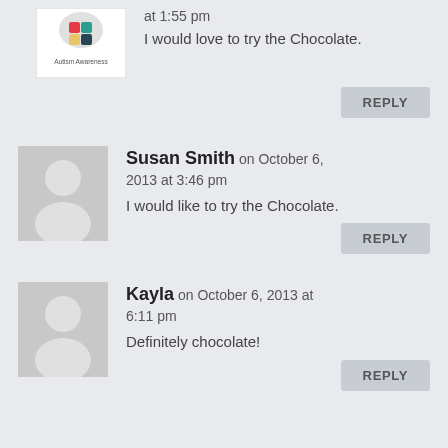at 1:55 pm
I would love to try the Chocolate.
REPLY
Susan Smith on October 6, 2013 at 3:46 pm
I would like to try the Chocolate.
REPLY
Kayla on October 6, 2013 at 6:11 pm
Definitely chocolate!
REPLY